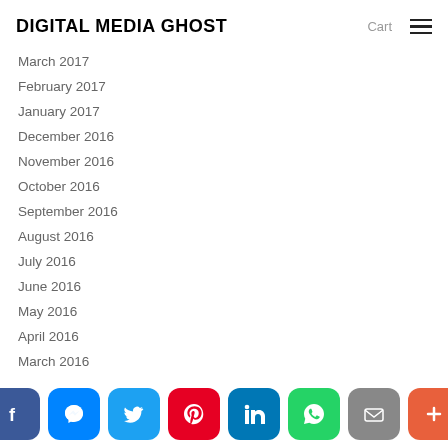DIGITAL MEDIA GHOST | Cart
March 2017
February 2017
January 2017
December 2016
November 2016
October 2016
September 2016
August 2016
July 2016
June 2016
May 2016
April 2016
March 2016
[Figure (infographic): Social sharing bar with icons: Facebook, Messenger, Twitter, Pinterest, LinkedIn, WhatsApp, Email, More]